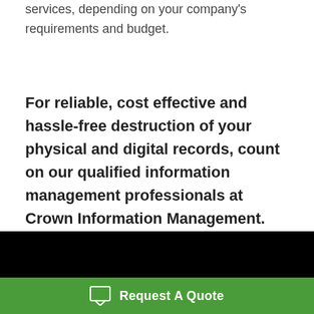services, depending on your company's requirements and budget.
For reliable, cost effective and hassle-free destruction of your physical and digital records, count on our qualified information management professionals at Crown Information Management. Call us at 800-979-9545 or contact us online.
[Figure (other): Black background section (video or image placeholder)]
Request A Quote